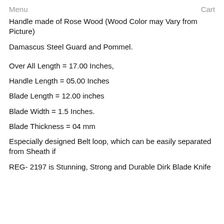Menu    Cart
Handle made of Rose Wood (Wood Color may Vary from Picture)
Damascus Steel Guard and Pommel.
Over All Length = 17.00 Inches,
Handle Length = 05.00 Inches
Blade Length = 12.00 inches
Blade Width = 1.5 Inches.
Blade Thickness = 04 mm
Especially designed Belt loop, which can be easily separated from Sheath if
REG- 2197 is Stunning, Strong and Durable Dirk Blade Knife